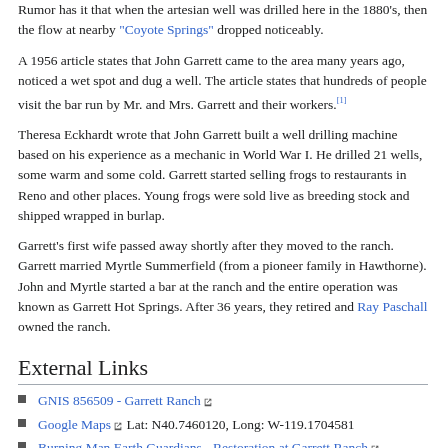Rumor has it that when the artesian well was drilled here in the 1880s, then the flow at nearby "Coyote Springs" dropped noticeably.
A 1956 article states that John Garrett came to the area many years ago, noticed a wet spot and dug a well. The article states that hundreds of people visit the bar run by Mr. and Mrs. Garrett and their workers.[1]
Theresa Eckhardt wrote that John Garrett built a well drilling machine based on his experience as a mechanic in World War I. He drilled 21 wells, some warm and some cold. Garrett started selling frogs to restaurants in Reno and other places. Young frogs were sold live as breeding stock and shipped wrapped in burlap.
Garrett's first wife passed away shortly after they moved to the ranch. Garrett married Myrtle Summerfield (from a pioneer family in Hawthorne). John and Myrtle started a bar at the ranch and the entire operation was known as Garrett Hot Springs. After 36 years, they retired and Ray Paschall owned the ranch.
External Links
GNIS 856509 - Garrett Ranch
Google Maps  Lat: N40.7460120, Long: W-119.1704581
Burning Man Earth Guardians - Restoration at Garrett Ranch
Brian Doherty, "This Is Burning Man" Hachette Digital, Inc., 2004